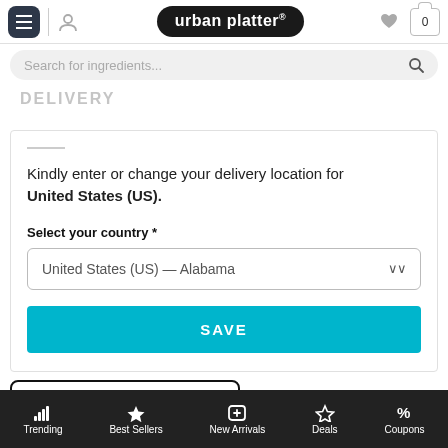urban platter® — navigation bar with hamburger, user, logo, heart, cart
Search for ingredients...
DELIVERY
Kindly enter or change your delivery location for United States (US).
Select your country *
United States (US) — Alabama
SAVE
CATEGORIES
Trending | Best Sellers | New Arrivals | Deals | Coupons